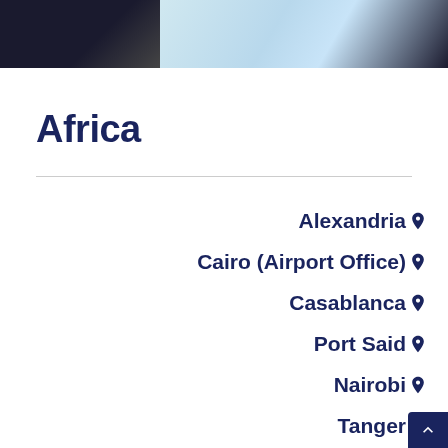[Figure (photo): Page header with dark left section and light blue/teal right section, partial photo imagery]
Africa
Alexandria
Cairo (Airport Office)
Casablanca
Port Said
Nairobi
Tanger